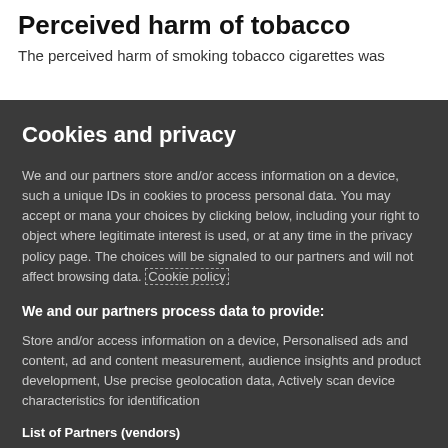Perceived harm of tobacco
The perceived harm of smoking tobacco cigarettes was
Cookies and privacy
We and our partners store and/or access information on a device, such as unique IDs in cookies to process personal data. You may accept or manage your choices by clicking below, including your right to object where legitimate interest is used, or at any time in the privacy policy page. These choices will be signaled to our partners and will not affect browsing data. Cookie policy
We and our partners process data to provide:
Store and/or access information on a device, Personalised ads and content, ad and content measurement, audience insights and product development, Use precise geolocation data, Actively scan device characteristics for identification
List of Partners (vendors)
I Accept